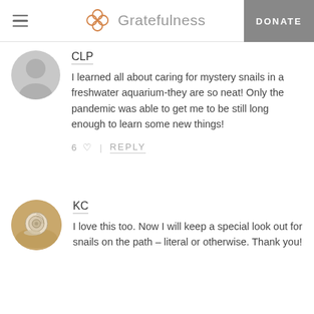Gratefulness | DONATE
CLP
I learned all about caring for mystery snails in a freshwater aquarium-they are so neat! Only the pandemic was able to get me to be still long enough to learn some new things!
6 ♡ | REPLY
[Figure (photo): Circular avatar photo of a snail shell on sandy ground]
KC
I love this too. Now I will keep a special look out for snails on the path – literal or otherwise. Thank you!